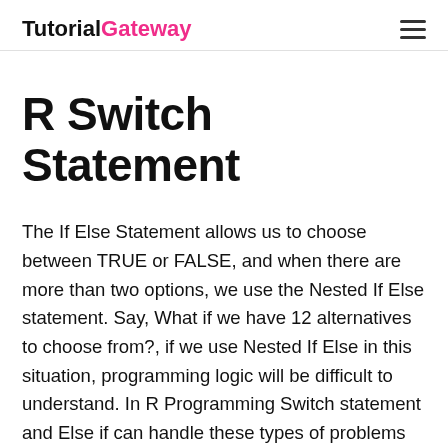TutorialGateway
R Switch Statement
The If Else Statement allows us to choose between TRUE or FALSE, and when there are more than two options, we use the Nested If Else statement. Say, What if we have 12 alternatives to choose from?, if we use Nested If Else in this situation, programming logic will be difficult to understand. In R Programming Switch statement and Else if can handle these types of problems